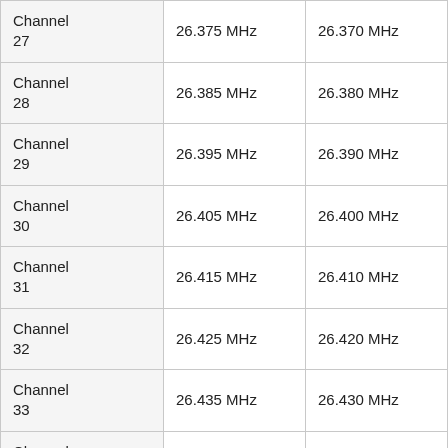| Channel 27 | 26.375 MHz | 26.370 MHz |
| Channel 28 | 26.385 MHz | 26.380 MHz |
| Channel 29 | 26.395 MHz | 26.390 MHz |
| Channel 30 | 26.405 MHz | 26.400 MHz |
| Channel 31 | 26.415 MHz | 26.410 MHz |
| Channel 32 | 26.425 MHz | 26.420 MHz |
| Channel 33 | 26.435 MHz | 26.430 MHz |
| Channel 34 | 26.445 MHz | 26.440 MHz |
| Channel 35 | 26.455 MHz | 26.450 MHz |
| Channel 36 | 26.465 MHz | 26.460 MHz |
| Channel ... |  |  |